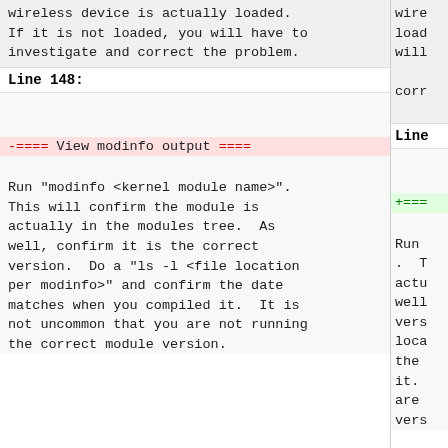wireless device is actually loaded.
If it is not loaded, you will have to
investigate and correct the problem.
Line 148:
-==== View modinfo output ====
Run "modinfo <kernel module name>".
This will confirm the module is
actually in the modules tree.  As
well, confirm it is the correct
version.  Do a "ls -l <file location
per modinfo>" and confirm the date
matches when you compiled it.  It is
not uncommon that you are not running
the correct module version.